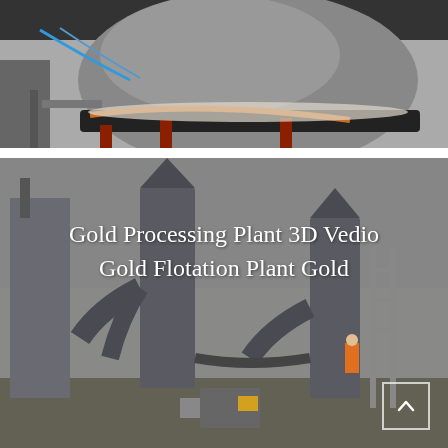[Figure (photo): Close-up photograph of industrial mining machinery — a large spherical or cylindrical metal component with wiring (blue cables), copper tubes, and red metal support frame visible underneath.]
[Figure (photo): Photo of a gold processing plant exterior showing large industrial cyclone/mill equipment (grey metal towers and ducts), scaffolding, pipes, and a worker in orange visible in the background. White text overlay reads: 'Gold Processing Plant 3D Vedio Gold Flotation Plant Gold'. A navigation up-arrow button is in the bottom-right corner.]
Gold Processing Plant 3D Vedio Gold Flotation Plant Gold